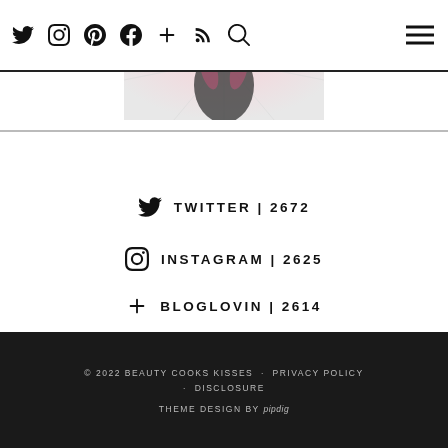Twitter | Instagram | Pinterest | Facebook | + | RSS | Search | Hamburger menu
[Figure (photo): Partial view of a decorative image with pink and silver radial sunburst pattern and dark elements, visible in the top center of the page header area]
TWITTER | 2672
INSTAGRAM | 2625
FACEBOOK | 2084
PINTEREST | 1740
BLOGLOVIN | 2614
© 2022 BEAUTY COOKS KISSES · PRIVACY POLICY · DISCLOSURE
THEME DESIGN BY pipdig